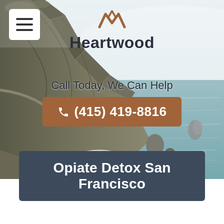[Figure (photo): Aerial/coastal view of rocky cliffs and ocean with misty fog, California coastline]
[Figure (logo): Heartwood logo: stylized W/mountain peak icon in brown/copper color above bold dark text 'Heartwood']
Call Today, We Can Help
(415) 419-8816
Opiate Detox San Francisco